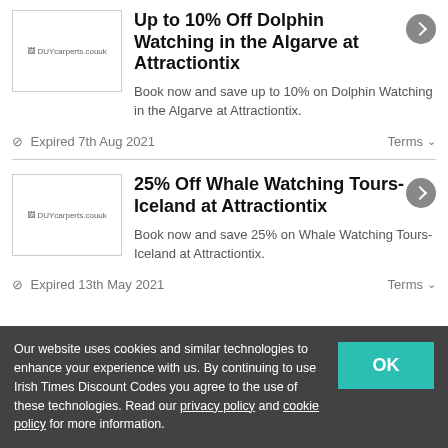Up to 10% Off Dolphin Watching in the Algarve at Attractiontix
Book now and save up to 10% on Dolphin Watching in the Algarve at Attractiontix.
⊘ Expired 7th Aug 2021    Terms ∨
25% Off Whale Watching Tours- Iceland at Attractiontix
Book now and save 25% on Whale Watching Tours- Iceland at Attractiontix.
⊘ Expired 13th May 2021    Terms ∨
Our website uses cookies and similar technologies to enhance your experience with us. By continuing to use Irish Times Discount Codes you agree to the use of these technologies. Read our privacy policy and cookie policy for more information.